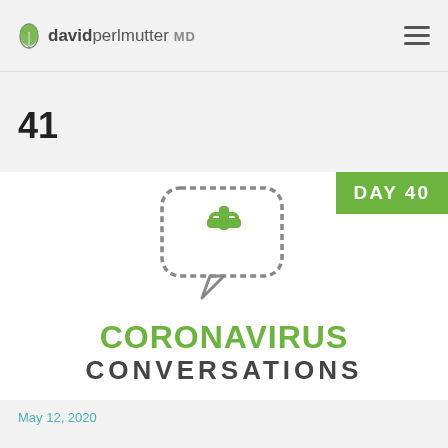david perlmutter MD
41
[Figure (illustration): Medical speech bubble icon with a cross/plus sign inside, outlined in gray, representing coronavirus conversations. Green 'DAY 40' badge in top right.]
CORONAVIRUS CONVERSATIONS
May 12, 2020